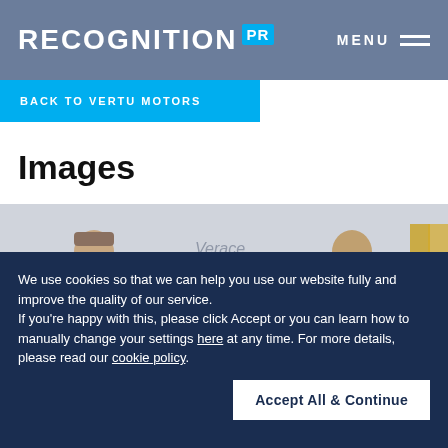RECOGNITION PR | MENU
BACK TO VERTU MOTORS
Images
[Figure (photo): Two men in dark suits and blue face masks standing in a car showroom with a Jaguar Verace vehicle visible in the background, handing something between them]
We use cookies so that we can help you use our website fully and improve the quality of our service. If you're happy with this, please click Accept or you can learn how to manually change your settings here at any time. For more details, please read our cookie policy.
Accept All & Continue